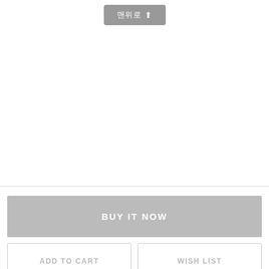[Figure (screenshot): A grey rounded button with Korean text '맨위로' and an upward arrow icon, centered near the top of the page]
BUY IT NOW
ADD TO CART
WISH LIST